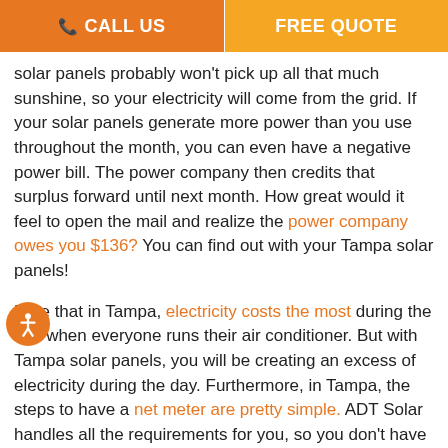CALL US | FREE QUOTE
solar panels probably won't pick up all that much sunshine, so your electricity will come from the grid. If your solar panels generate more power than you use throughout the month, you can even have a negative power bill. The power company then credits that surplus forward until next month. How great would it feel to open the mail and realize the power company owes you $136? You can find out with your Tampa solar panels!
Note that in Tampa, electricity costs the most during the day when everyone runs their air conditioner. But with Tampa solar panels, you will be creating an excess of electricity during the day. Furthermore, in Tampa, the steps to have a net meter are pretty simple. ADT Solar handles all the requirements for you, so you don't have to worry about it at all.
Currently in Tampa, net metering is available through